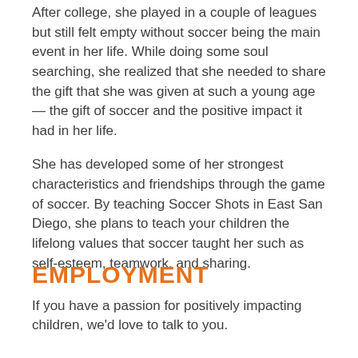After college, she played in a couple of leagues but still felt empty without soccer being the main event in her life. While doing some soul searching, she realized that she needed to share the gift that she was given at such a young age — the gift of soccer and the positive impact it had in her life.
She has developed some of her strongest characteristics and friendships through the game of soccer. By teaching Soccer Shots in East San Diego, she plans to teach your children the lifelong values that soccer taught her such as self-esteem, teamwork, and sharing.
EMPLOYMENT
If you have a passion for positively impacting children, we'd love to talk to you.